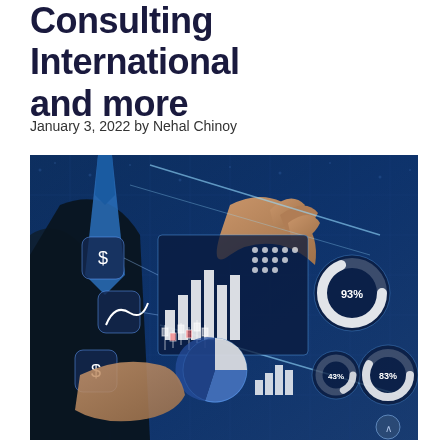Consulting International and more
January 3, 2022 by Nehal Chinoy
[Figure (photo): A businessman in a dark suit touching a virtual digital interface displaying financial charts, bar graphs, pie charts, and percentage donut charts (93%, 43%, 83%) against a blue-toned data-filled background.]